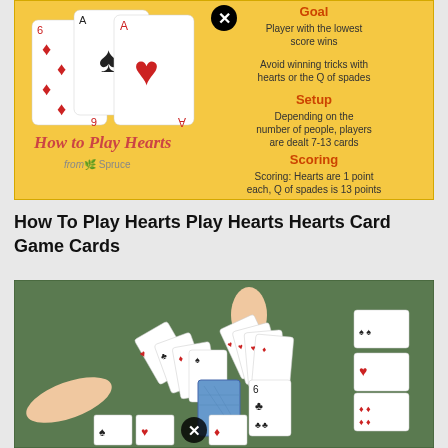[Figure (infographic): How to Play Hearts infographic with playing cards on yellow background showing Goal, Setup, and Scoring sections]
How To Play Hearts Play Hearts Hearts Card Game Cards
[Figure (illustration): Illustration of players' hands holding playing cards on a green felt table surface, with cards laid out showing a game of Hearts in progress]